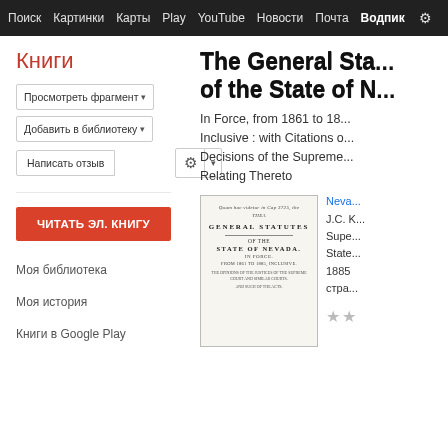Поиск  Картинки  Карты  Play  YouTube  Новости  Почта  Вход  ⚙
Книги
Просмотреть фрагмент ▾
Добавить в библиотеку ▾
Написать отзыв
ЧИТАТЬ ЭЛ. КНИГУ
Моя библиотека
Моя история
Книги в Google Play
The General Statutes of the State of Nevada
In Force, from 1861 to 1885, Inclusive : with Citations of Decisions of the Supreme Court Relating Thereto
[Figure (illustration): Scanned book cover of General Statutes of the State of Nevada, showing old typeset title page with decorative text]
Nevada
J.C. K...
Supe...
State...
1885
стра...